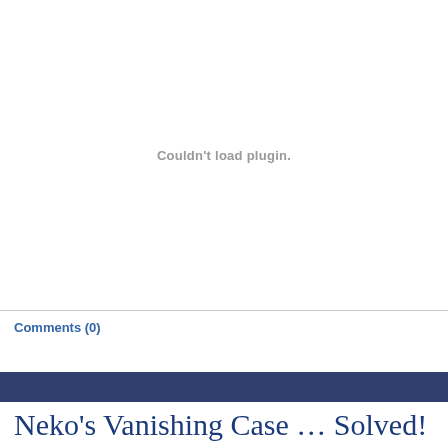[Figure (other): Plugin placeholder area showing 'Couldn't load plugin.' message in gray text on white background]
Comments (0)
Neko's Vanishing Case … Solved!